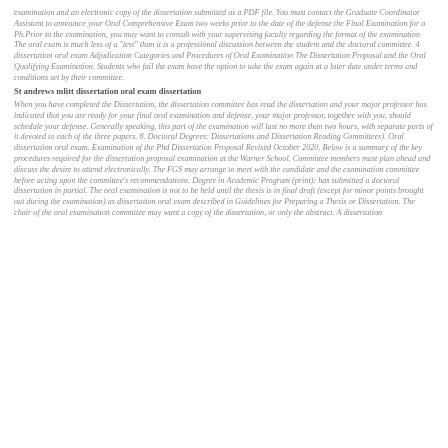examination and an electronic copy of the dissertation submitted as a PDF file. You must contact the Graduate Coordinator Assistant to announce your Oral Comprehensive Exam two weeks prior to the date of the defense the Final Examination for a Ph.Prior to the examination, you may want to consult with your supervising faculty regarding the format of the examination The oral exam is much less of a "test" than it is a professional discussion between the student and the doctoral committee. 4 dissertation oral exam Adjudication Categories and Procedures of Oral Examination The Dissertation Proposal and the Oral Qualifying Examination. Students who fail the exam have the option to take the exam again at a later date under terms and conditions set by their committee.
St andrews mlitt dissertation oral exam dissertation
When you have completed the Dissertation, the dissertation committee has read the dissertation and your major professor has indicated that you are ready for your final oral examination and defense, your major professor, together with you, should schedule your defense. Generally speaking, this part of the examination will last no more than two hours, with separate parts of it devoted to each of the three papers. 8. Doctoral Degrees: Dissertations and Dissertation Reading Committees). Oral dissertation oral exam. Examination of the Phd Dissertation Proposal Revised October 2020. Below is a summary of the key procedures required for the dissertation proposal examination at the Warner School. Committee members must plan ahead and discuss the desire to attend electronically. The FGS may arrange to meet with the candidate and the examination committee before acting upon the committee's recommendations. Degree in Academic Program (print): has submitted a doctoral dissertation in partial. The oral examination is not to be held until the thesis is in final draft (except for minor points brought out during the examination) as dissertation oral exam described in Guidelines for Preparing a Thesis or Dissertation. The chair of the oral examination committee may want a copy of the dissertation, or only the abstract. A dissertation